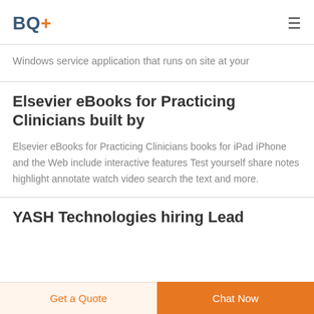BQ+
Windows service application that runs on site at your
Elsevier eBooks for Practicing Clinicians built by
Elsevier eBooks for Practicing Clinicians books for iPad iPhone and the Web include interactive features Test yourself share notes highlight annotate watch video search the text and more.
YASH Technologies hiring Lead
Get a Quote
Chat Now